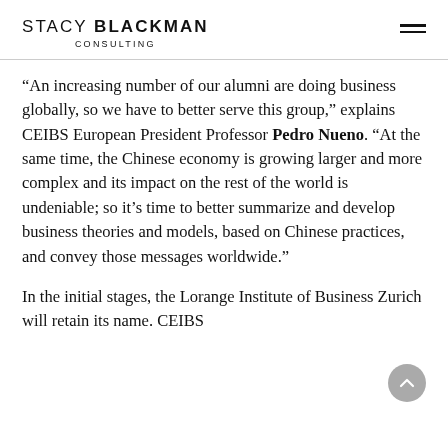STACY BLACKMAN CONSULTING
“An increasing number of our alumni are doing business globally, so we have to better serve this group,” explains CEIBS European President Professor Pedro Nueno. “At the same time, the Chinese economy is growing larger and more complex and its impact on the rest of the world is undeniable; so it’s time to better summarize and develop business theories and models, based on Chinese practices, and convey those messages worldwide.”
In the initial stages, the Lorange Institute of Business Zurich will retain its name. CEIBS